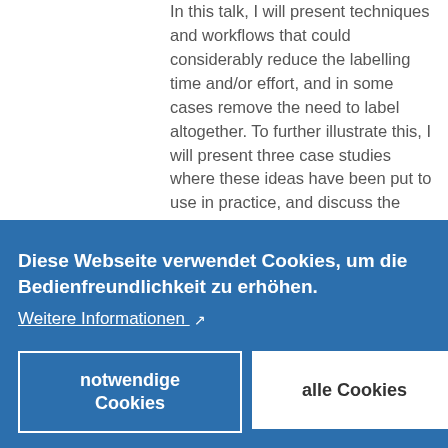In this talk, I will present techniques and workflows that could considerably reduce the labelling time and/or effort, and in some cases remove the need to label altogether. To further illustrate this, I will present three case studies where these ideas have been put to use in practice, and discuss the resulting
Diese Webseite verwendet Cookies, um die Bedienfreundlichkeit zu erhöhen.
Weitere Informationen ↗
notwendige Cookies
alle Cookies
beyond the ones covered in this